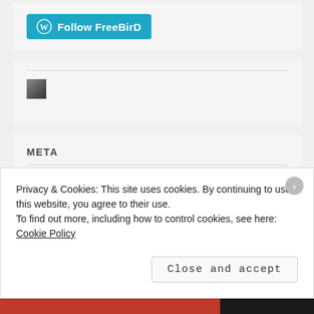[Figure (logo): WordPress Follow FreeBirD button with WordPress circular logo icon in teal/blue color]
[Figure (photo): Small avatar/profile photo thumbnail in black and white]
META
Privacy & Cookies: This site uses cookies. By continuing to use this website, you agree to their use.
To find out more, including how to control cookies, see here: Cookie Policy
Close and accept